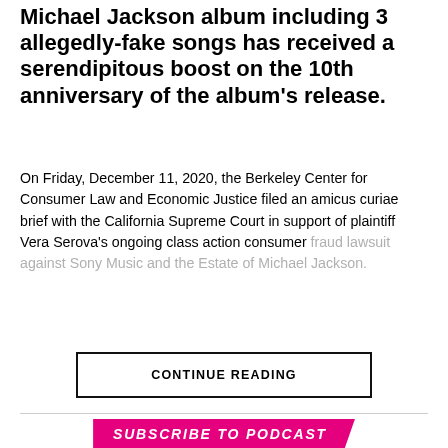Michael Jackson album including 3 allegedly-fake songs has received a serendipitous boost on the 10th anniversary of the album's release.
On Friday, December 11, 2020, the Berkeley Center for Consumer Law and Economic Justice filed an amicus curiae brief with the California Supreme Court in support of plaintiff Vera Serova's ongoing class action consumer fraud lawsuit against Sony Music and the Estate of Michael Jackson.
CONTINUE READING
SUBSCRIBE TO PODCAST
Apple Podcasts